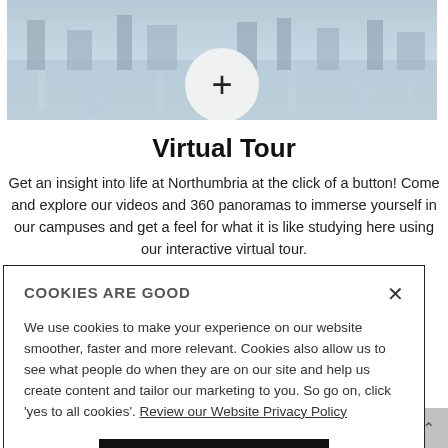[Figure (photo): Blurred photo of a waterfront or campus building reflected in water, with a white circle containing a plus sign overlaid in the center]
Virtual Tour
Get an insight into life at Northumbria at the click of a button! Come and explore our videos and 360 panoramas to immerse yourself in our campuses and get a feel for what it is like studying here using our interactive virtual tour.
COOKIES ARE GOOD
We use cookies to make your experience on our website smoother, faster and more relevant. Cookies also allow us to see what people do when they are on our site and help us create content and tailor our marketing to you. So go on, click 'yes to all cookies'. Review our Website Privacy Policy
Yes to all cookies
Let me choose